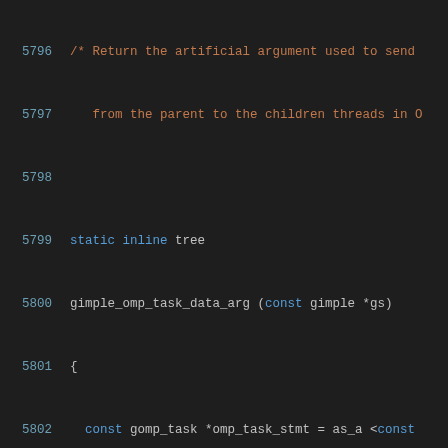Source code snippet showing gimple_omp_task_data_arg and gimple_omp_task_data_arg_ptr functions, lines 5796-5816
[Figure (screenshot): Syntax-highlighted C++ code showing two static inline functions: gimple_omp_task_data_arg and gimple_omp_task_data_arg_ptr, with line numbers 5796-5816 on dark background]